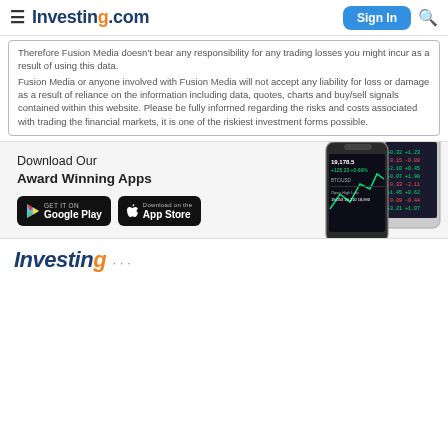Investing.com — Sign In
Therefore Fusion Media doesn't bear any responsibility for any trading losses you might incur as a result of using this data. Fusion Media or anyone involved with Fusion Media will not accept any liability for loss or damage as a result of reliance on the information including data, quotes, charts and buy/sell signals contained within this website. Please be fully informed regarding the risks and costs associated with trading the financial markets, it is one of the riskiest investment forms possible.
[Figure (screenshot): App download banner with Google Play and App Store buttons, and phone screenshots showing the Investing.com trading app interface]
[Figure (logo): Investing.com logo in footer area]